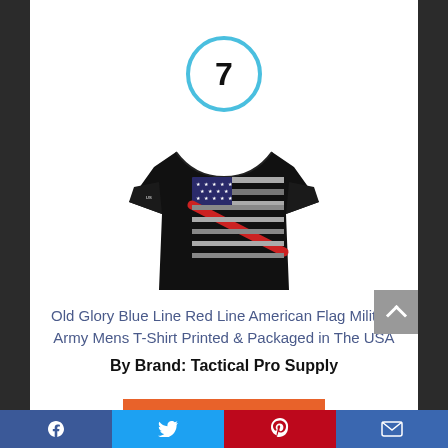7
[Figure (photo): Black t-shirt with American flag design featuring stars, red and white stripes, displayed on a white background.]
Old Glory Blue Line Red Line American Flag Military Army Mens T-Shirt Printed & Packaged in The USA
By Brand: Tactical Pro Supply
View Product
Facebook | Twitter | Pinterest | Email